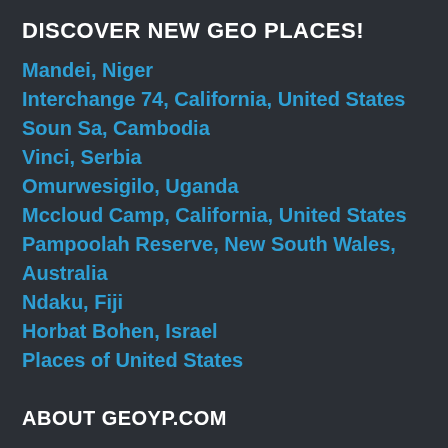DISCOVER NEW GEO PLACES!
Mandei, Niger
Interchange 74, California, United States
Soun Sa, Cambodia
Vinci, Serbia
Omurwesigilo, Uganda
Mccloud Camp, California, United States
Pampoolah Reserve, New South Wales, Australia
Ndaku, Fiji
Horbat Bohen, Israel
Places of United States
ABOUT GEOYP.COM
GeoYP (also known as GEO Yellow Page) is a Big Data Archive of GEO Places. Till today, GeoYP has covered around 11.6 million GEO places of world with 3.22 million